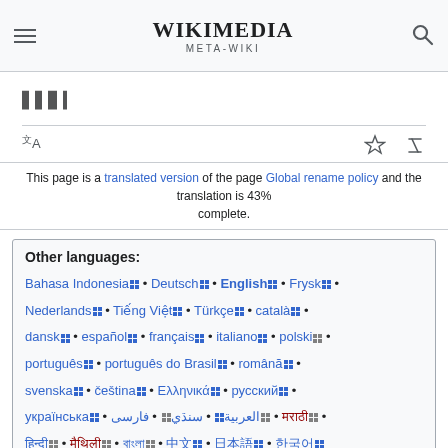Wikimedia Meta-Wiki
ᨒᨒᨒᨒᨒᨒᨒ ᨒᨒᨒᨒᨒᨒᨒ ᨒᨒᨒᨒᨒᨒᨒᨒᨒ ᨒᨒᨒᨒ
This page is a translated version of the page Global rename policy and the translation is 43% complete.
Other languages: Bahasa Indonesia • Deutsch • English • Frysk • Nederlands • Tiếng Việt • Türkçe • català • dansk • español • français • italiano • polski • português • português do Brasil • română • svenska • čeština • Ελληνικά • русский • українська • العربية • سنڌي • فارسی • मराठी • हिन्दी • मैथिली • বাংলা • 中文 • 日本語 • 한국어